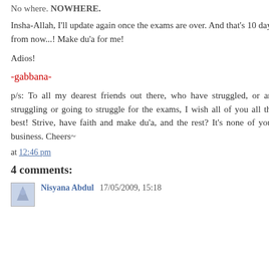No where. NOWHERE.
Insha-Allah, I'll update again once the exams are over. And that's 10 days from now...! Make du'a for me!
Adios!
-gabbana-
p/s: To all my dearest friends out there, who have struggled, or are struggling or going to struggle for the exams, I wish all of you all the best! Strive, have faith and make du'a, and the rest? It's none of your business. Cheers~
at 12:46 pm
4 comments:
Nisyana Abdul  17/05/2009, 15:18